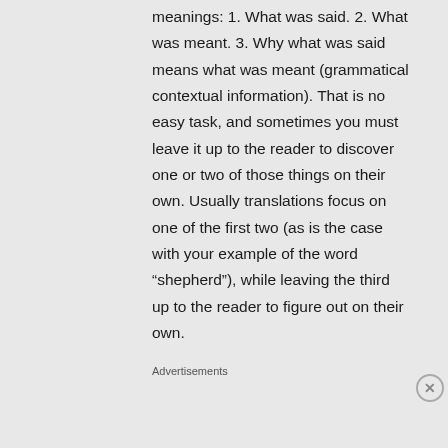meanings: 1. What was said. 2. What was meant. 3. Why what was said means what was meant (grammatical contextual information). That is no easy task, and sometimes you must leave it up to the reader to discover one or two of those things on their own. Usually translations focus on one of the first two (as is the case with your example of the word “shepherd”), while leaving the third up to the reader to figure out on their own.
Advertisements
[Figure (photo): Advertisement banner for Macy's cosmetics: red background with model's face/lips, text 'KISS BORING LIPS GOODBYE', 'SHOP NOW' button, and Macy's star logo]